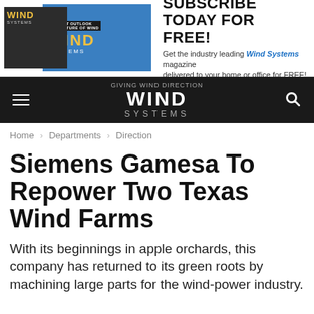[Figure (other): Wind Systems magazine subscription advertisement banner with two magazine cover images on the left and subscription text on the right]
WIND SYSTEMS — Giving Wind Direction
Home › Departments › Direction
Siemens Gamesa To Repower Two Texas Wind Farms
With its beginnings in apple orchards, this company has returned to its green roots by machining large parts for the wind-power industry.